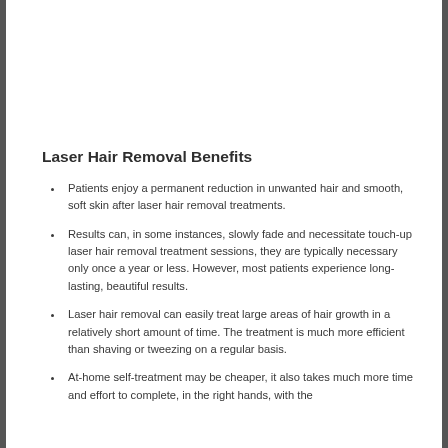Laser Hair Removal Benefits
Patients enjoy a permanent reduction in unwanted hair and smooth, soft skin after laser hair removal treatments.
Results can, in some instances, slowly fade and necessitate touch-up laser hair removal treatment sessions, they are typically necessary only once a year or less. However, most patients experience long-lasting, beautiful results.
Laser hair removal can easily treat large areas of hair growth in a relatively short amount of time. The treatment is much more efficient than shaving or tweezing on a regular basis.
At-home self-treatment may be cheaper, it also takes much more time and effort to complete, in the right hands, with the…